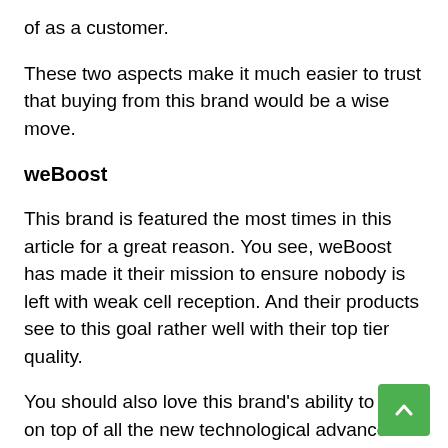of as a customer.
These two aspects make it much easier to trust that buying from this brand would be a wise move.
weBoost
This brand is featured the most times in this article for a great reason. You see, weBoost has made it their mission to ensure nobody is left with weak cell reception. And their products see to this goal rather well with their top tier quality.
You should also love this brand's ability to stay on top of all the new technological advances made in this field. It's one of the many reasons that weBoost products always dominate this market and often only compete against themselves.